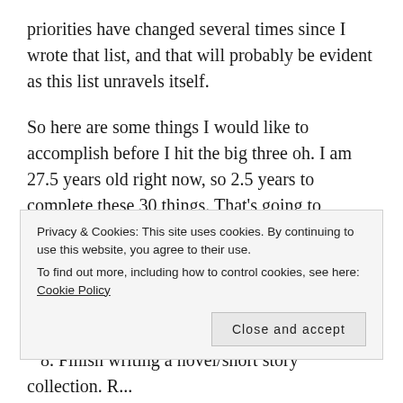priorities have changed several times since I wrote that list, and that will probably be evident as this list unravels itself.
So here are some things I would like to accomplish before I hit the big three oh. I am 27.5 years old right now, so 2.5 years to complete these 30 things. That's going to average out to 12 items per year, or one per month! So clearly, I've got to get going. Wish me luck!
1. Become a mom
Privacy & Cookies: This site uses cookies. By continuing to use this website, you agree to their use.
To find out more, including how to control cookies, see here: Cookie Policy
8. Finish writing a novel/short story collection. R...